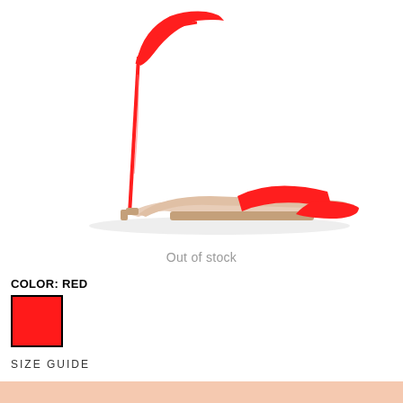[Figure (photo): A red patent leather high-heel stiletto sandal with a thin ankle strap and toe strap, shown in profile against a white background.]
Out of stock
COLOR: RED
[Figure (other): Red color swatch square with black border]
SIZE GUIDE